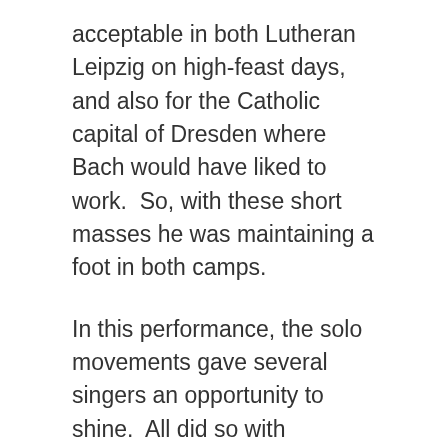acceptable in both Lutheran Leipzig on high-feast days, and also for the Catholic capital of Dresden where Bach would have liked to work.  So, with these short masses he was maintaining a foot in both camps.
In this performance, the solo movements gave several singers an opportunity to shine.  All did so with distinction, but special mention must be made of the moving performance Chloe Lankshear gave of the aria Qui tollis, accompanied only by the violins and the beguiling flute playing of Mikaela Oberg and Jessica Lee weaving their chromatic webs.  The performance came to a splendid conclusion with the full-throated choral forces enjoying a rollicking Cum sanctu spiritu.  It brought